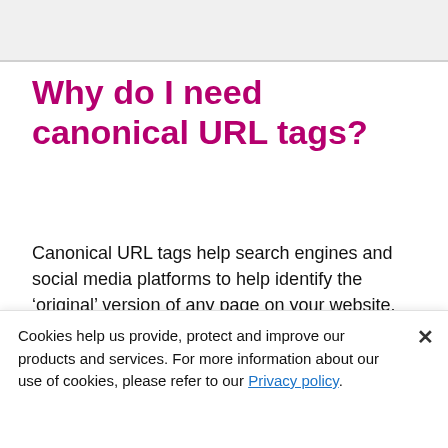Why do I need canonical URL tags?
Canonical URL tags help search engines and social media platforms to help identify the ‘original’ version of any page on your website.
Whenever your content can be viewed on different URLs
Cookies help us provide, protect and improve our products and services. For more information about our use of cookies, please refer to our Privacy policy.